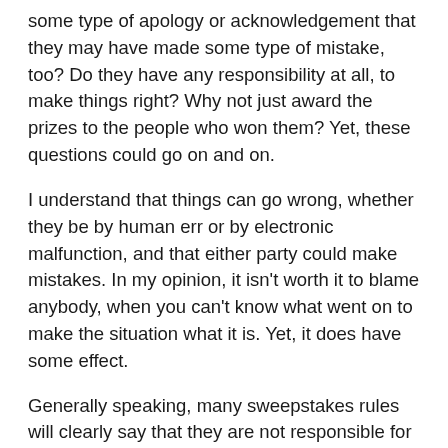some type of apology or acknowledgement that they may have made some type of mistake, too? Do they have any responsibility at all, to make things right? Why not just award the prizes to the people who won them? Yet, these questions could go on and on.
I understand that things can go wrong, whether they be by human err or by electronic malfunction, and that either party could make mistakes. In my opinion, it isn't worth it to blame anybody, when you can't know what went on to make the situation what it is. Yet, it does have some effect.
Generally speaking, many sweepstakes rules will clearly say that they are not responsible for electronic malfunctions (or something similar). These particular rules said nothing of the sort. In fact, they basically said nothing at all. In the end, it does leave a sour taste in your mouth, and it obviously has made some people very mad.
Still, I always feel bad about a company taking a big blow when these things happen. It really isn't good for either side. Yet, there is a reason why sweepstakes rules are governed